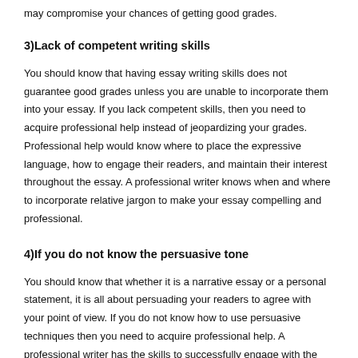may compromise your chances of getting good grades.
3)  Lack of competent writing skills
You should know that having essay writing skills does not guarantee good grades unless you are unable to incorporate them into your essay. If you lack competent skills, then you need to acquire professional help instead of jeopardizing your grades. Professional help would know where to place the expressive language, how to engage their readers, and maintain their interest throughout the essay. A professional writer knows when and where to incorporate relative jargon to make your essay compelling and professional.
4)  If you do not know the persuasive tone
You should know that whether it is a narrative essay or a personal statement, it is all about persuading your readers to agree with your point of view. If you do not know how to use persuasive techniques then you need to acquire professional help. A professional writer has the skills to successfully engage with the audience using a persuasive tone without sounding commanding or demanding in their writing. A professional writer knows what elements to add and what to